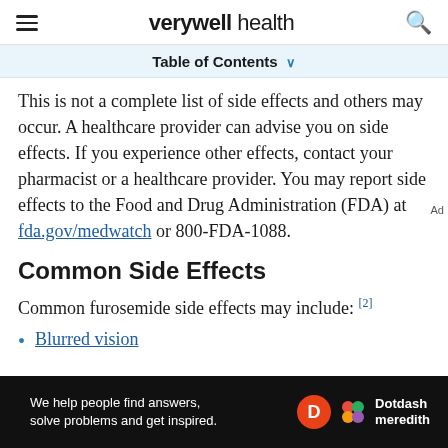verywell health
Table of Contents
This is not a complete list of side effects and others may occur. A healthcare provider can advise you on side effects. If you experience other effects, contact your pharmacist or a healthcare provider. You may report side effects to the Food and Drug Administration (FDA) at fda.gov/medwatch or 800-FDA-1088.
Common Side Effects
Common furosemide side effects may include: [2]
Blurred vision
[Figure (other): Dotdash Meredith advertisement banner: 'We help people find answers, solve problems and get inspired.' with Dotdash Meredith logo]